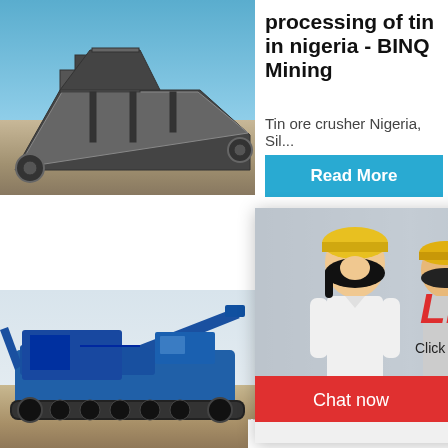[Figure (photo): Mining conveyor machine on construction site with blue sky background]
processing of tin in nigeria - BINQ Mining
Tin ore crusher Nigeria, Sil...
Read More
[Figure (photo): Live chat popup with workers in yellow hard hats, woman smiling in foreground. Shows LIVE CHAT title in red italic, 'Click for a Free Consultation', Chat now (red button) and Chat later (dark button). Close button top right.]
hour online
Co., Ltd
Xi'an Des...
[Figure (photo): Blue tracked mobile crushing machine on road]
[Figure (photo): Heavy duty crusher machine, grey industrial equipment with red wheel]
nt
Click me to chat>>
Read
Enquiry
limingjlmofen